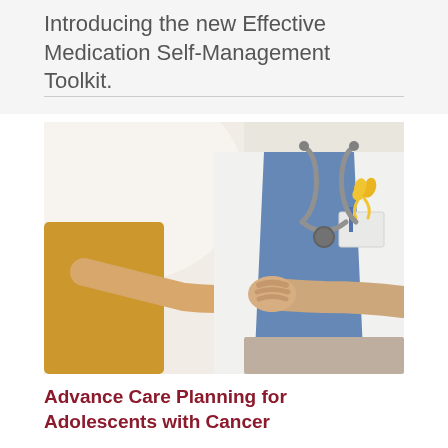Introducing the new Effective Medication Self-Management Toolkit.
[Figure (photo): A doctor in a white coat wearing a yellow awareness ribbon and stethoscope holds hands with a patient wearing a yellow/mustard top. The image focuses on the hands clasped together, conveying care and support in an oncology/cancer care setting.]
Advance Care Planning for Adolescents with Cancer